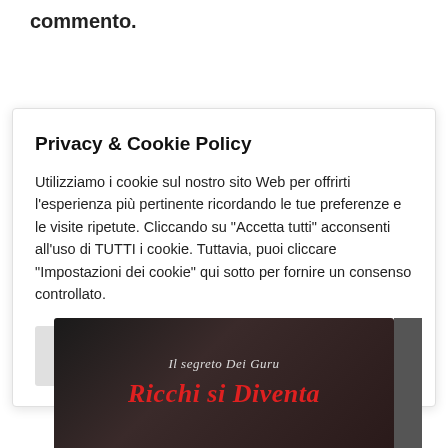commento.
Privacy & Cookie Policy
Utilizziamo i cookie sul nostro sito Web per offrirti l'esperienza più pertinente ricordando le tue preferenze e le visite ripetute. Cliccando su "Accetta tutti" acconsenti all'uso di TUTTI i cookie. Tuttavia, puoi cliccare "Impostazioni dei cookie" qui sotto per fornire un consenso controllato.
Impostazioni dei cookie | Accetta tutti
[Figure (photo): Book cover showing 'Il segreto Dei Guru' with title 'Ricchi si Diventa' in red italic script on dark background]